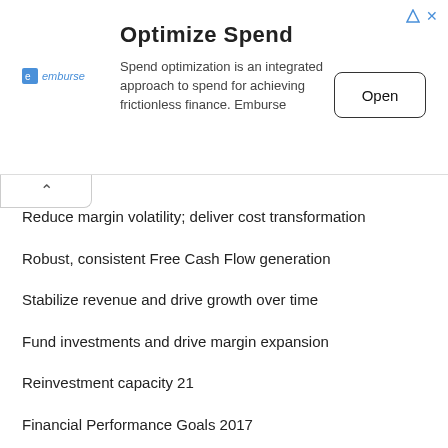[Figure (other): Advertisement banner for Emburse Spend Optimization with Open button]
Reduce margin volatility; deliver cost transformation
Robust, consistent Free Cash Flow generation
Stabilize revenue and drive growth over time
Fund investments and drive margin expansion
Reinvestment capacity 21
Financial Performance Goals 2017
2018
2019
Renewal and Refocus